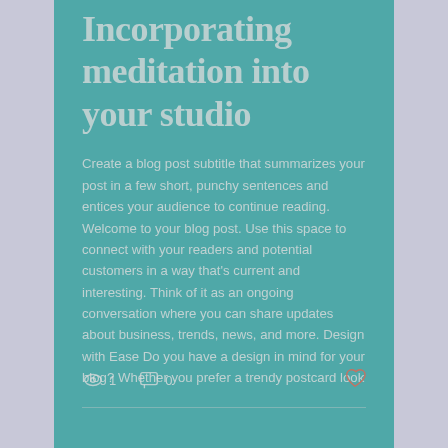Incorporating meditation into your studio
Create a blog post subtitle that summarizes your post in a few short, punchy sentences and entices your audience to continue reading. Welcome to your blog post. Use this space to connect with your readers and potential customers in a way that's current and interesting. Think of it as an ongoing conversation where you can share updates about business, trends, news, and more. Design with Ease Do you have a design in mind for your blog? Whether you prefer a trendy postcard look
1 view · 0 comments · like